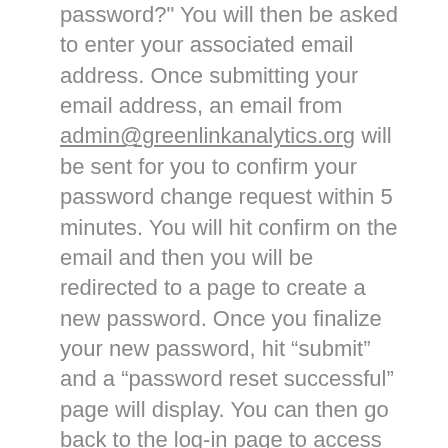password?" You will then be asked to enter your associated email address. Once submitting your email address, an email from admin@greenlinkanalytics.org will be sent for you to confirm your password change request within 5 minutes. You will hit confirm on the email and then you will be redirected to a page to create a new password. Once you finalize your new password, hit “submit” and a “password reset successful” page will display. You can then go back to the log-in page to access the new platform.